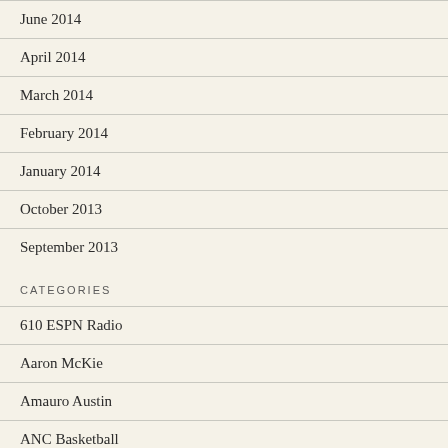June 2014
April 2014
March 2014
February 2014
January 2014
October 2013
September 2013
CATEGORIES
610 ESPN Radio
Aaron McKie
Amauro Austin
ANC Basketball
Archbishop Ryan Basketball
Archbishop Wood Basketball